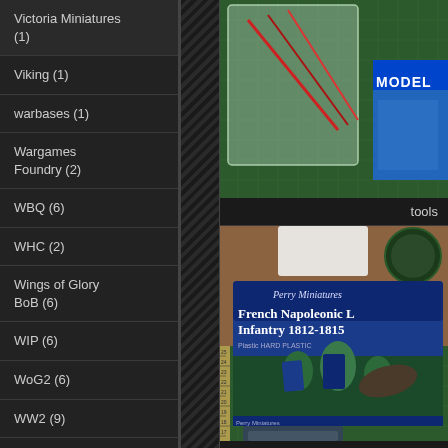Victoria Miniatures (1)
Viking (1)
warbases (1)
Wargames Foundry (2)
WBQ (6)
WHC (2)
Wings of Glory BoB (6)
WIP (6)
WoG2 (6)
WW2 (9)
Zenit Miniatures (2)
Zulu (6)
[Figure (photo): Photo of hobby tools and supplies on a green cutting mat, including what appears to be a Modelmaster product]
tools
[Figure (photo): Photo of Perry Miniatures French Napoleonic Light Infantry 1812-1815 plastic model box on a cutting mat]